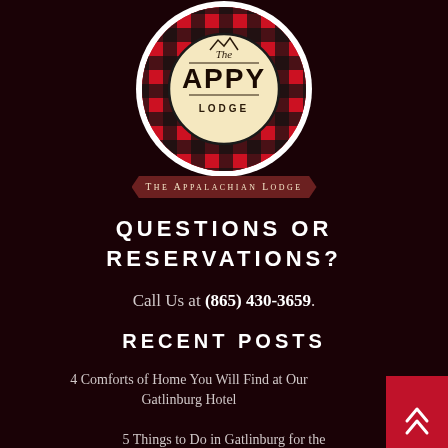[Figure (logo): The Appy Lodge logo: circular badge with red and black buffalo plaid pattern, text 'The APPY LODGE' in center, gold/cream color scheme]
THE APPALACHIAN LODGE
QUESTIONS OR RESERVATIONS?
Call Us at (865) 430-3659.
RECENT POSTS
4 Comforts of Home You Will Find at Our Gatlinburg Hotel
5 Things to Do in Gatlinburg for the